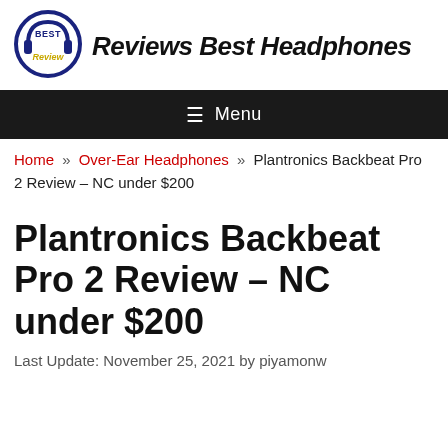[Figure (logo): Reviews Best Headphones website logo with circular headphones icon and site name in italic bold font]
Menu
Home » Over-Ear Headphones » Plantronics Backbeat Pro 2 Review – NC under $200
Plantronics Backbeat Pro 2 Review – NC under $200
Last Update: November 25, 2021 by piyamonw